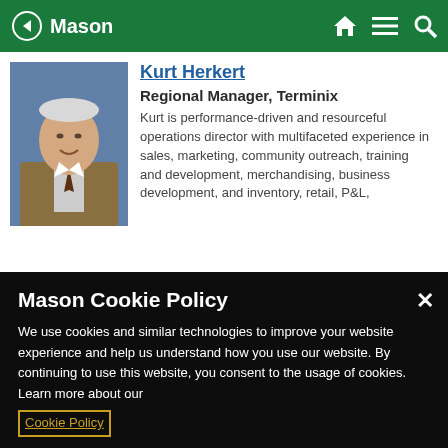Mason
Kurt Herkert
Regional Manager, Terminix
Kurt is performance-driven and resourceful operations director with multifaceted experience in sales, marketing, community outreach, training and development, merchandising, business development, and inventory, retail, P&L,
Mason Cookie Policy
We use cookies and similar technologies to improve your website experience and help us understand how you use our website. By continuing to use this website, you consent to the usage of cookies. Learn more about our Cookie Policy
Cookie Preferences
Accept Cookies